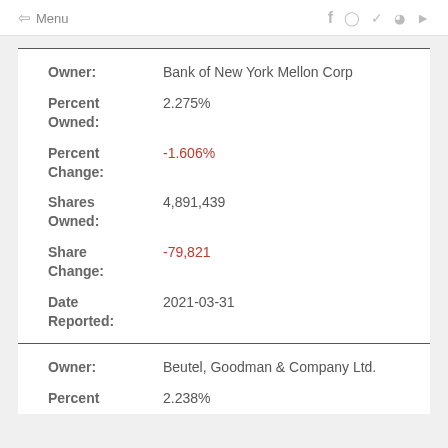Menu
| Field | Value |
| --- | --- |
| Owner: | Bank of New York Mellon Corp |
| Percent Owned: | 2.275% |
| Percent Change: | -1.606% |
| Shares Owned: | 4,891,439 |
| Share Change: | -79,821 |
| Date Reported: | 2021-03-31 |
| Field | Value |
| --- | --- |
| Owner: | Beutel, Goodman & Company Ltd. |
| Percent | 2.238% |